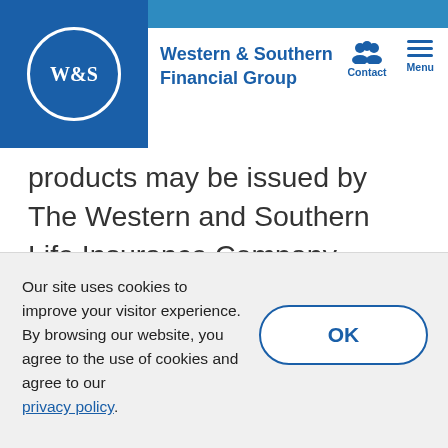Western & Southern Financial Group
products may be issued by The Western and Southern Life Insurance Company, Western-Southern Life Assurance Company, Columbus Life Insurance Company, Integrity Life Insurance Company, The Lafayette Life Insurance Company, National Integrity Life Insurance Company or Gerber Life Insurance Company. Products and services referenced in this website are provided through multiple companies. Each company has financial responsibility only for its own products and services, and is not responsible for the
Our site uses cookies to improve your visitor experience. By browsing our website, you agree to the use of cookies and agree to our privacy policy.